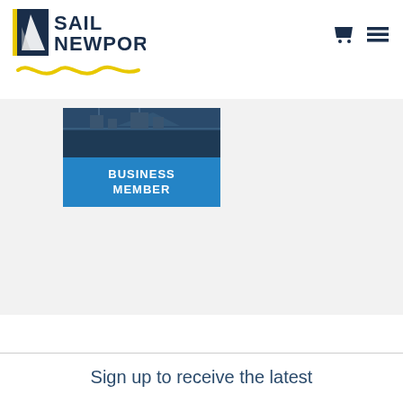[Figure (logo): Sail Newport logo with sailboat icon and yellow wave swoosh below text]
[Figure (illustration): Business Member card showing a photo of water/boats at top and a blue banner reading BUSINESS MEMBER]
Sign up to receive the latest